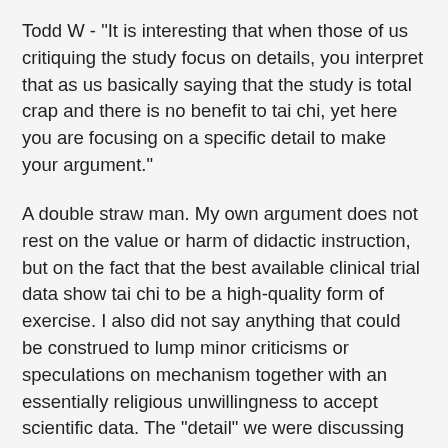Todd W - "It is interesting that when those of us critiquing the study focus on details, you interpret that as us basically saying that the study is total crap and there is no benefit to tai chi, yet here you are focusing on a specific detail to make your argument."
A double straw man. My own argument does not rest on the value or harm of didactic instruction, but on the fact that the best available clinical trial data show tai chi to be a high-quality form of exercise. I also did not say anything that could be construed to lump minor criticisms or speculations on mechanism together with an essentially religious unwillingness to accept scientific data. The "detail" we were discussing was among a list of unsupported alternative hypotheses offered as possible means of explaining away the superiority of tai chi. If I fail to argue against such "details," I may be presumed to have conceded the point, yet if I take the time to point out why they're implausible, I will be accused of nitpicking. Can't